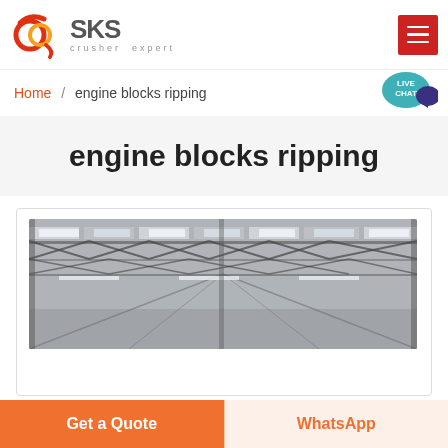[Figure (logo): SKS crusher expert logo with red swirl emblem and gray SKS text]
Home / engine blocks ripping
[Figure (illustration): Teal speech bubble with LIVE CHAT text and dark blue chat bubble icon]
engine blocks ripping
[Figure (photo): Interior of a large industrial warehouse or factory with steel roof trusses and fluorescent lighting]
Get a Quote
WhatsApp